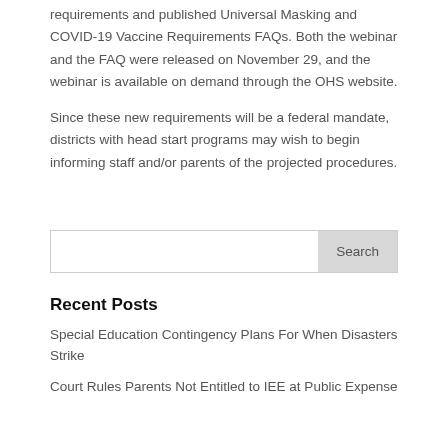requirements and published Universal Masking and COVID-19 Vaccine Requirements FAQs. Both the webinar and the FAQ were released on November 29, and the webinar is available on demand through the OHS website.
Since these new requirements will be a federal mandate, districts with head start programs may wish to begin informing staff and/or parents of the projected procedures.
Recent Posts
Special Education Contingency Plans For When Disasters Strike
Court Rules Parents Not Entitled to IEE at Public Expense